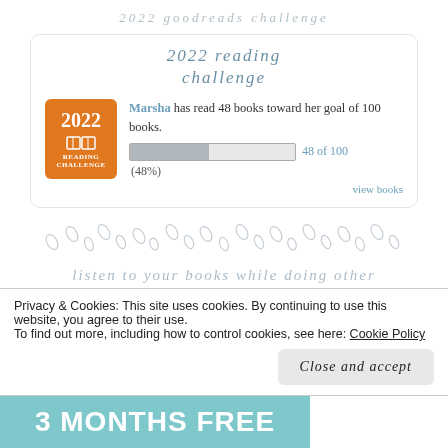2022 goodreads challenge
2022 reading challenge
Marsha has read 48 books toward her goal of 100 books. 48 of 100 (48%)
view books
[Figure (illustration): Decorative divider of small leaf/floral shapes in light grey]
listen to your books while doing other things!
Privacy & Cookies: This site uses cookies. By continuing to use this website, you agree to their use.
To find out more, including how to control cookies, see here: Cookie Policy
Close and accept
3 MONTHS FREE